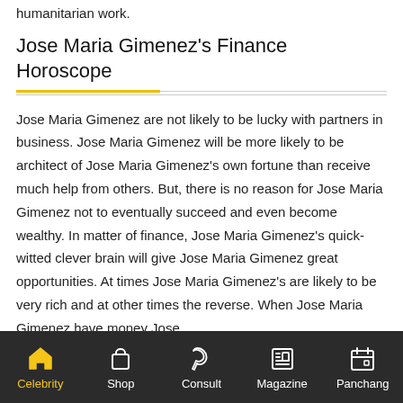humanitarian work.
Jose Maria Gimenez's Finance Horoscope
Jose Maria Gimenez are not likely to be lucky with partners in business. Jose Maria Gimenez will be more likely to be architect of Jose Maria Gimenez's own fortune than receive much help from others. But, there is no reason for Jose Maria Gimenez not to eventually succeed and even become wealthy. In matter of finance, Jose Maria Gimenez's quick-witted clever brain will give Jose Maria Gimenez great opportunities. At times Jose Maria Gimenez's are likely to be very rich and at other times the reverse. When Jose Maria Gimenez have money Jose
Celebrity | Shop | Consult | Magazine | Panchang